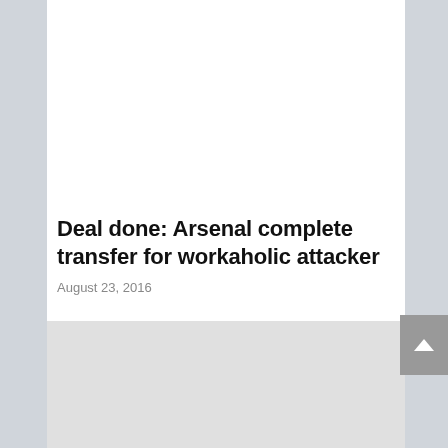[Figure (photo): Top image placeholder with horizontal lines icon in center, light gray background]
Deal done: Arsenal complete transfer for workaholic attacker
August 23, 2016
[Figure (photo): Bottom image placeholder, light gray background]